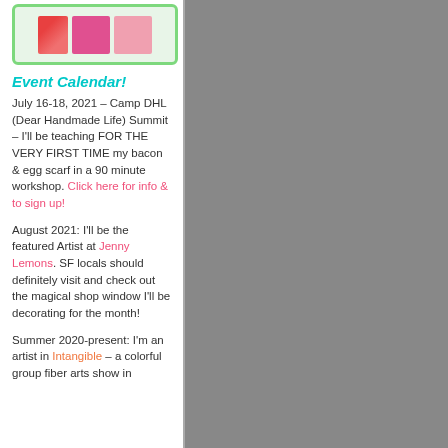[Figure (photo): Thumbnail image of knitted/crocheted swatches in green border frame]
Event Calendar!
July 16-18, 2021 – Camp DHL (Dear Handmade Life) Summit – I'll be teaching FOR THE VERY FIRST TIME my bacon & egg scarf in a 90 minute workshop. Click here for info & to sign up!
August 2021: I'll be the featured Artist at Jenny Lemons. SF locals should definitely visit and check out the magical shop window I'll be decorating for the month!
Summer 2020-present: I'm an artist in Intangible – a colorful group fiber arts show in
[Figure (screenshot): Video player showing crafted figures/characters with text overlay 'The player is having trou...']